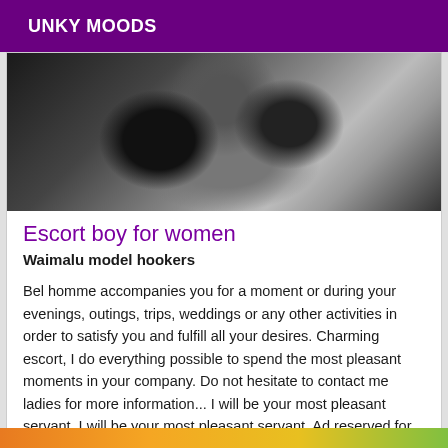UNKY MOODS
[Figure (photo): Close-up black and white photo of a person's eyes and nose, with hands near the face]
Escort boy for women
Waimalu model hookers
Bel homme accompanies you for a moment or during your evenings, outings, trips, weddings or any other activities in order to satisfy you and fulfill all your desires. Charming escort, I do everything possible to spend the most pleasant moments in your company. Do not hesitate to contact me ladies for more information... I will be your most pleasant servant. I will be your most pleasant servant. Ad reserved for women only. Thank you for your interest.